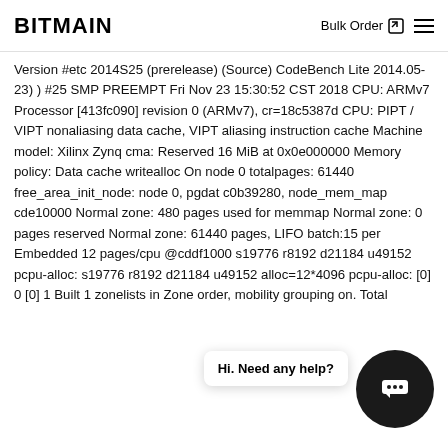BITMAIN   Bulk Order ≡
Version #etc 2014S25 (prerelease) (Source) CodeBench Lite 2014.05-23) ) #25 SMP PREEMPT Fri Nov 23 15:30:52 CST 2018 CPU: ARMv7 Processor [413fc090] revision 0 (ARMv7), cr=18c5387d CPU: PIPT / VIPT nonaliasing data cache, VIPT aliasing instruction cache Machine model: Xilinx Zynq cma: Reserved 16 MiB at 0x0e000000 Memory policy: Data cache writealloc On node 0 totalpages: 61440 free_area_init_node: node 0, pgdat c0b39280, node_mem_map cde10000 Normal zone: 480 pages used for memmap Normal zone: 0 pages reserved Normal zone: 61440 pages, LIFO batch:15 per Embedded 12 pages/cpu @cddf1000 s19776 r8192 d21184 u49152 pcpu-alloc: s19776 r8192 d21184 u49152 alloc=12*4096 pcpu-alloc: [0] 0 [0] 1 Built 1 zonelists in Zone order, mobility grouping on. Total